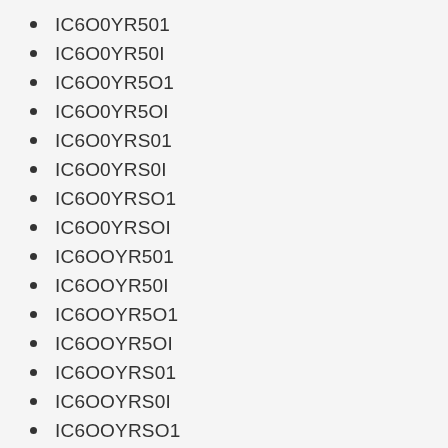IC6O0YR501
IC6O0YR50I
IC6O0YR5O1
IC6O0YR5OI
IC6O0YRS01
IC6O0YRS0I
IC6O0YRSO1
IC6O0YRSOI
IC6OOYR501
IC6OOYR50I
IC6OOYR5O1
IC6OOYR5OI
IC6OOYRS01
IC6OOYRS0I
IC6OOYRSO1
IC6OOYRSOI
ICG00YR501
ICG00YR50I
ICG00YR5O1